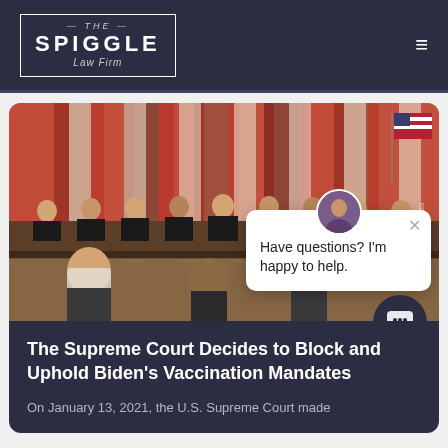THE SPIGGLE Law Firm
[Figure (illustration): Courtroom sketch illustration of U.S. Supreme Court justices seated at the bench with red curtains and American flag in background; audience members in foreground wearing masks]
The Supreme Court Decides to Block and Uphold Biden's Vaccination Mandates
On January 13, 2021, the U.S. Supreme Court made